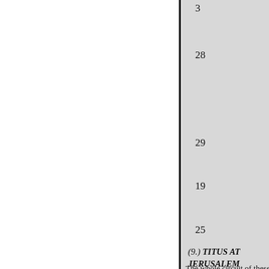3
28
29
19
25
(9.) TITUS AT JERUSALEM where it was not? surrounded by
The whole circuit of these wal rest 13 of the 5 walls. They were lofty chambers, and above those Antonia stood 28 alone, on a pre It 10 was likewise a work of Her commanding strength of a citade courts, and on the Temple itself, 15 even for a Stoic, like Titus,